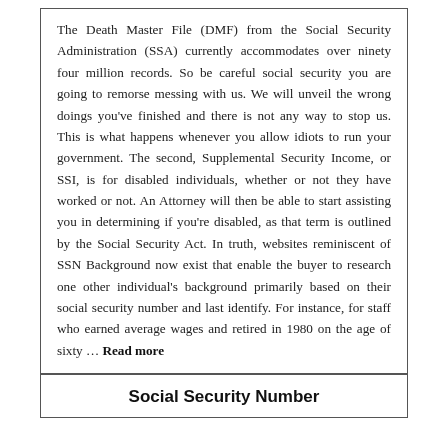The Death Master File (DMF) from the Social Security Administration (SSA) currently accommodates over ninety four million records. So be careful social security you are going to remorse messing with us. We will unveil the wrong doings you've finished and there is not any way to stop us. This is what happens whenever you allow idiots to run your government. The second, Supplemental Security Income, or SSI, is for disabled individuals, whether or not they have worked or not. An Attorney will then be able to start assisting you in determining if you're disabled, as that term is outlined by the Social Security Act. In truth, websites reminiscent of SSN Background now exist that enable the buyer to research one other individual's background primarily based on their social security number and last identify. For instance, for staff who earned average wages and retired in 1980 on the age of sixty … Read more
Social Security Number